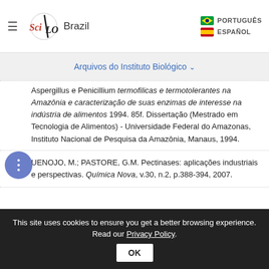SciELO Brazil | PORTUGUÊS | ESPAÑOL
Arquivos do Instituto Biológico
Aspergillus e Penicillium termofilicas e termotolerantes na Amazônia e caracterização de suas enzimas de interesse na indústria de alimentos 1994. 85f. Dissertação (Mestrado em Tecnologia de Alimentos) - Universidade Federal do Amazonas, Instituto Nacional de Pesquisa da Amazônia, Manaus, 1994.
UENOJO, M.; PASTORE, G.M. Pectinases: aplicações industriais e perspectivas. Química Nova, v.30, n.2, p.388-394, 2007.
This site uses cookies to ensure you get a better browsing experience. Read our Privacy Policy.